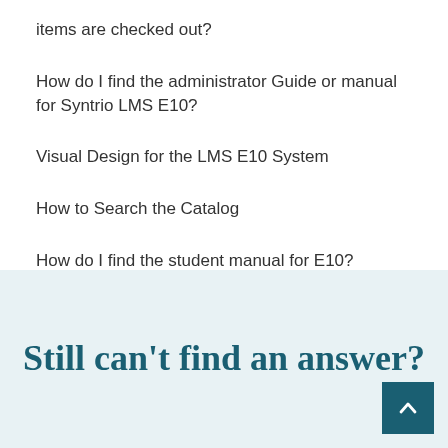items are checked out?
How do I find the administrator Guide or manual for Syntrio LMS E10?
Visual Design for the LMS E10 System
How to Search the Catalog
How do I find the student manual for E10?
Still can't find an answer?